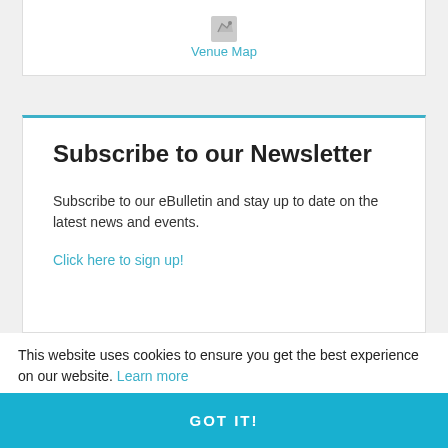[Figure (map): Map icon with 'Venue Map' link below it]
Subscribe to our Newsletter
Subscribe to our eBulletin and stay up to date on the latest news and events.
Click here to sign up!
This website uses cookies to ensure you get the best experience on our website. Learn more
GOT IT!